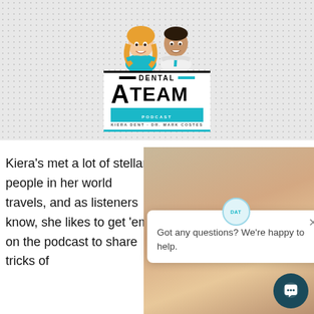[Figure (logo): Dental A Team Podcast logo with cartoon caricatures of a woman and man above the text. Logo text reads: DENTAL A TEAM PODCAST, KIERA DENT · DR. MARK COSTES. Checkered/dotted grey background.]
Kiera's met a lot of stellar people in her world travels, and as listeners know, she likes to get 'em on the podcast to share tricks of
[Figure (photo): Close-up photo of a smiling woman with blonde wavy hair, wearing dark clothing and pearl necklace earrings. A chat popup overlay reads: Got any questions? We're happy to help. With a DAT circular icon and X close button. A dark teal chat button icon is in the bottom right corner.]